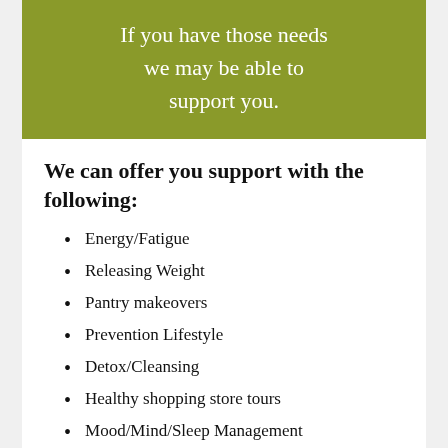If you have those needs we may be able to support you.
We can offer you support with the following:
Energy/Fatigue
Releasing Weight
Pantry makeovers
Prevention Lifestyle
Detox/Cleansing
Healthy shopping store tours
Mood/Mind/Sleep Management
Hormonal Balance/Women's Health
Natural Skincare, Natural Cleaning